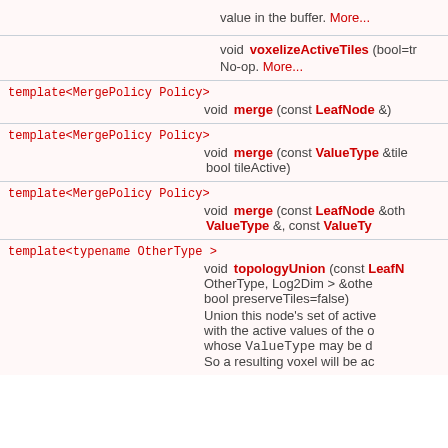value in the buffer. More...
void voxelizeActiveTiles (bool=tr
No-op. More...
template<MergePolicy Policy>
void merge (const LeafNode &)
template<MergePolicy Policy>
void merge (const ValueType &tile
bool tileActive)
template<MergePolicy Policy>
void merge (const LeafNode &oth
ValueType &, const ValueTy
template<typename OtherType >
void topologyUnion (const LeafN
OtherType, Log2Dim > &othe
bool preserveTiles=false)
Union this node's set of active
with the active values of the o
whose ValueType may be d
So a resulting voxel will be ac